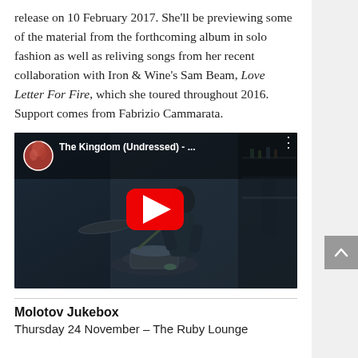release on 10 February 2017. She'll be previewing some of the material from the forthcoming album in solo fashion as well as reliving songs from her recent collaboration with Iron & Wine's Sam Beam, Love Letter For Fire, which she toured throughout 2016. Support comes from Fabrizio Cammarata.
[Figure (screenshot): YouTube video embed showing 'The Kingdom (Undressed) - ...' with a drummer in a dark room, YouTube play button overlay, circular album art thumbnail top-left]
Molotov Jukebox
Thursday 24 November – The Ruby Lounge